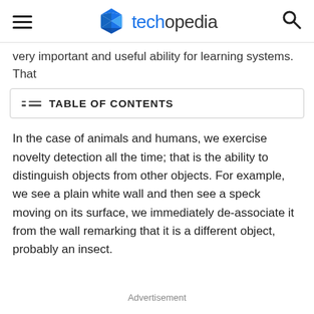techopedia
very important and useful ability for learning systems. That
TABLE OF CONTENTS
In the case of animals and humans, we exercise novelty detection all the time; that is the ability to distinguish objects from other objects. For example, we see a plain white wall and then see a speck moving on its surface, we immediately de-associate it from the wall remarking that it is a different object, probably an insect.
Advertisement